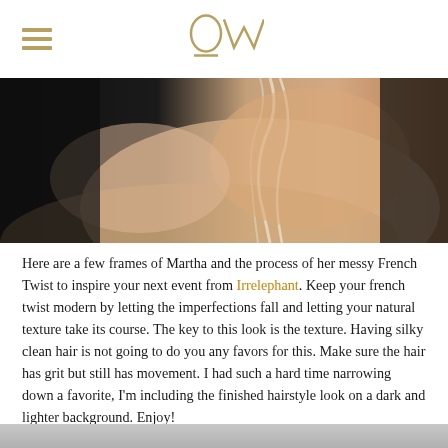OW (logo) with hamburger menu icon
[Figure (photo): Close-up photo of a woman's back and shoulder with light blonde hair styled up, against a dark background transitioning to skin tones]
Here are a few frames of Martha and the process of her messy French Twist to inspire your next event from Irrelephant. Keep your french twist modern by letting the imperfections fall and letting your natural texture take its course. The key to this look is the texture. Having silky clean hair is not going to do you any favors for this. Make sure the hair has grit but still has movement. I had such a hard time narrowing down a favorite, I'm including the finished hairstyle look on a dark and lighter background. Enjoy!